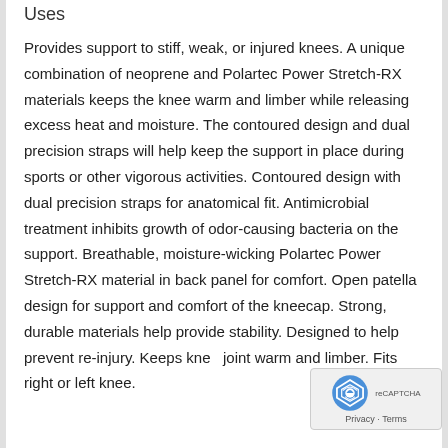Uses
Provides support to stiff, weak, or injured knees. A unique combination of neoprene and Polartec Power Stretch-RX materials keeps the knee warm and limber while releasing excess heat and moisture. The contoured design and dual precision straps will help keep the support in place during sports or other vigorous activities. Contoured design with dual precision straps for anatomical fit. Antimicrobial treatment inhibits growth of odor-causing bacteria on the support. Breathable, moisture-wicking Polartec Power Stretch-RX material in back panel for comfort. Open patella design for support and comfort of the kneecap. Strong, durable materials help provide stability. Designed to help prevent re-injury. Keeps knee joint warm and limber. Fits right or left knee.